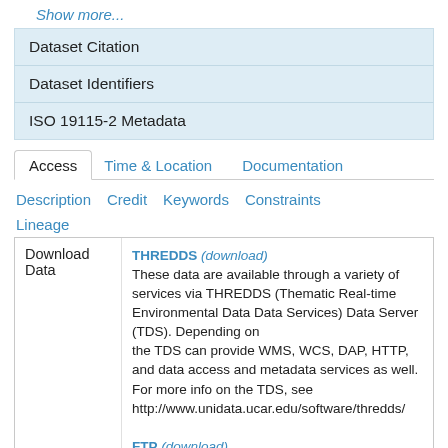Show more...
Dataset Citation
Dataset Identifiers
ISO 19115-2 Metadata
Access   Time & Location   Documentation
Description   Credit   Keywords   Constraints
Lineage
|  |  |
| --- | --- |
| Download Data | THREDDS (download)
These data are available through a variety of ser... THREDDS (Thematic Real-time Environmental D... Data Services) Data Server (TDS). Depending on the TDS can provide WMS, WCS, DAP, HTTP, and access and metadata services as well. For more i on the TDS, see http://www.unidata.ucar.edu/software/thredds/
FTP (download) |